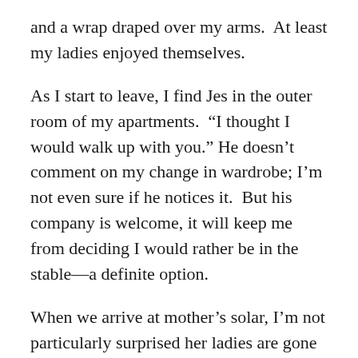and a wrap draped over my arms.  At least my ladies enjoyed themselves.
As I start to leave, I find Jes in the outer room of my apartments.  “I thought I would walk up with you.” He doesn’t comment on my change in wardrobe; I’m not even sure if he notices it.  But his company is welcome, it will keep me from deciding I would rather be in the stable—a definite option.
When we arrive at mother’s solar, I’m not particularly surprised her ladies are gone again, but I am surprised Alan is there.
“We have decided,” mother explains as Jes and I walk in, “To discuss the situation with Alan, and see if he might provide and useful information.”
“I’m afraid I haven’t any opinions or suggestions as